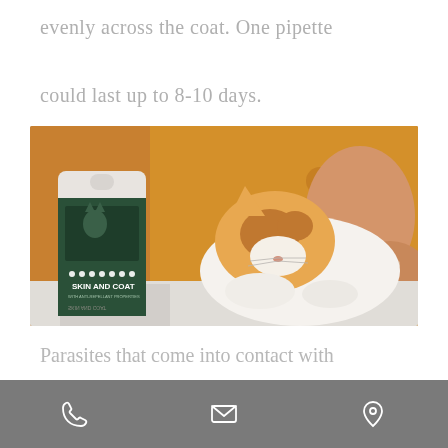evenly across the coat. One pipette could last up to 8-10 days.
[Figure (photo): A person in an orange/mustard jacket holding a ginger and white cat, with a dark green 'SKIN AND COAT' pet product package in the foreground on a reflective surface.]
Parasites that come into contact with
Phone | Email | Location icons navigation bar